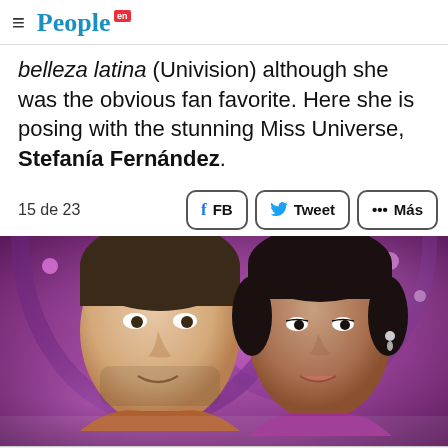People en Español
belleza latina (Univision) although she was the obvious fan favorite. Here she is posing with the stunning Miss Universe, Stefanía Fernández.
15 de 23
[Figure (photo): A man and a woman posing together in front of a purple/pink lit background with arched architecture. The man is on the left with short dark hair, and the woman is on the right with dark hair pulled back, wearing earrings.]